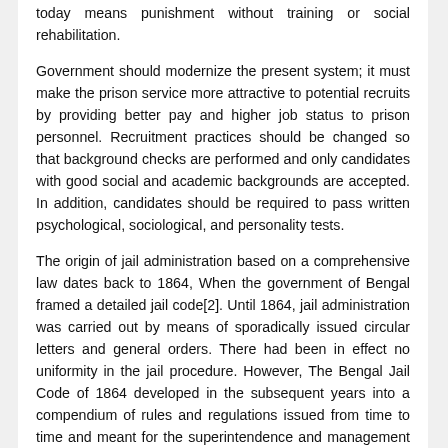today means punishment without training or social rehabilitation.
Government should modernize the present system; it must make the prison service more attractive to potential recruits by providing better pay and higher job status to prison personnel. Recruitment practices should be changed so that background checks are performed and only candidates with good social and academic backgrounds are accepted. In addition, candidates should be required to pass written psychological, sociological, and personality tests.
The origin of jail administration based on a comprehensive law dates back to 1864, When the government of Bengal framed a detailed jail code[2]. Until 1864, jail administration was carried out by means of sporadically issued circular letters and general orders. There had been in effect no uniformity in the jail procedure. However, The Bengal Jail Code of 1864 developed in the subsequent years into a compendium of rules and regulations issued from time to time and meant for the superintendence and management of all the jails, including the subsidiary jails, throughout the province. It